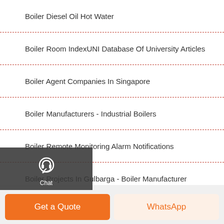Boiler Diesel Oil Hot Water
Boiler Room IndexUNI Database Of University Articles
Boiler Agent Companies In Singapore
Boiler Manufacturers - Industrial Boilers
Boiler Remote Monitoring Alarm Notifications
Boiler Projects In Gulbarga - Boiler Manufacturer
Boiler Explosion 2020 - Best Vision Group
Boiler Brand 2t Dealer Energy Saving
Boiler Agent List Original In Iran
[Figure (infographic): Dark sidebar overlay with Chat (headset icon), Email (envelope icon), and Contact (speech bubble icon) vertical navigation widgets]
[Figure (infographic): Scroll-to-top arrow button (white box with upward arrow)]
Get a Quote
WhatsApp